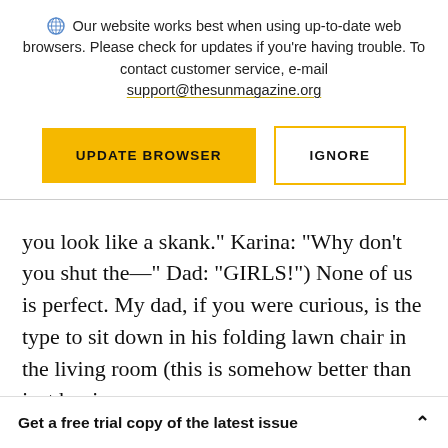Our website works best when using up-to-date web browsers. Please check for updates if you're having trouble. To contact customer service, e-mail support@thesunmagazine.org
[Figure (other): Two buttons: a yellow filled button labeled UPDATE BROWSER and a yellow-outlined white button labeled IGNORE]
you look like a skank.” Karina: “Why don’t you shut the—” Dad: “GIRLS!”) None of us is perfect. My dad, if you were curious, is the type to sit down in his folding lawn chair in the living room (this is somehow better than just buying
Get a free trial copy of the latest issue